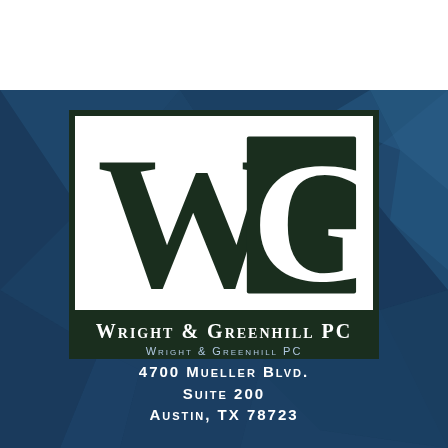[Figure (logo): Wright & Greenhill PC law firm logo: large WG monogram with W in white on left and G in white on dark green square on right, inside a white rectangle with dark green border, below which is a dark green bar with 'Wright & Greenhill PC' in white small-caps serif font.]
Wright & Greenhill PC
4700 Mueller Blvd.
Suite 200
Austin, TX 78723